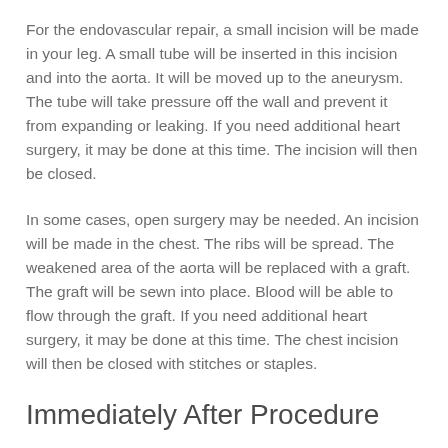For the endovascular repair, a small incision will be made in your leg. A small tube will be inserted in this incision and into the aorta. It will be moved up to the aneurysm. The tube will take pressure off the wall and prevent it from expanding or leaking. If you need additional heart surgery, it may be done at this time. The incision will then be closed.
In some cases, open surgery may be needed. An incision will be made in the chest. The ribs will be spread. The weakened area of the aorta will be replaced with a graft. The graft will be sewn into place. Blood will be able to flow through the graft. If you need additional heart surgery, it may be done at this time. The chest incision will then be closed with stitches or staples.
Immediately After Procedure